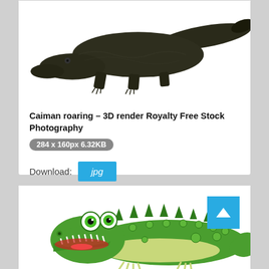[Figure (photo): 3D render of a dark-colored caiman/crocodilian viewed from above-side, realistic texture, on white background]
Caiman roaring - 3D render Royalty Free Stock Photography
284 x 160px 6.32KB
Download: jpg
[Figure (illustration): Cartoon illustration of a green crocodile/alligator with large googly eyes and open mouth showing teeth, smiling, on white background]